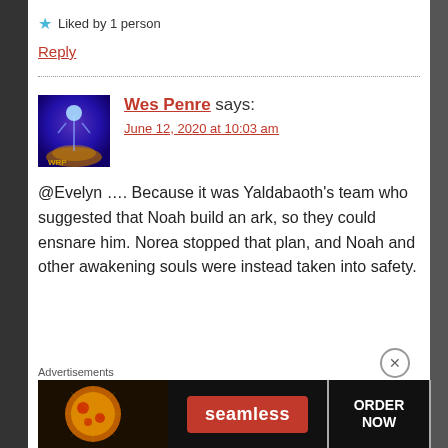★ Liked by 1 person
Reply
Wes Penre says:
June 12, 2020 at 10:03 am
@Evelyn …. Because it was Yaldabaoth's team who suggested that Noah build an ark, so they could ensnare him. Norea stopped that plan, and Noah and other awakening souls were instead taken into safety.
Advertisements
[Figure (screenshot): Seamless food delivery advertisement banner with pizza image, Seamless logo in red, and ORDER NOW button]